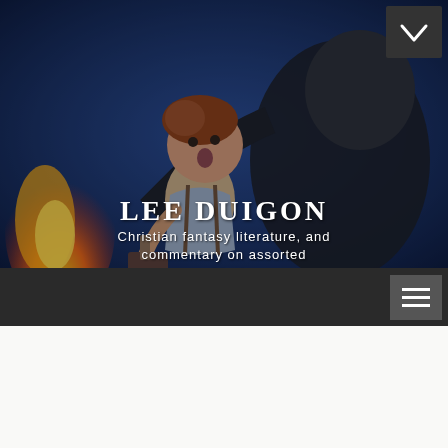[Figure (illustration): Fantasy illustration showing a child with reddish-brown hair being held or swung by a large dark creature, with flames visible on the left side and a blue-toned background]
LEE DUIGON
Christian fantasy literature, and commentary on assorted subjects
[Figure (other): Navigation bar with hamburger menu icon (three horizontal lines) on dark background]
Home / Religion
/ The Lukewarm 'Angel' Of Laodicea
The Lukewarm